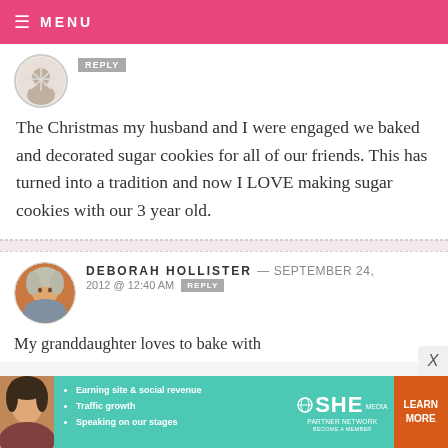MENU
The Christmas my husband and I were engaged we baked and decorated sugar cookies for all of our friends. This has turned into a tradition and now I LOVE making sugar cookies with our 3 year old.
DEBORAH HOLLISTER — SEPTEMBER 24, 2012 @ 12:40 AM
My granddaughter loves to bake with
[Figure (infographic): SHE Partner Network advertisement banner with photo, bullet points, logo, and learn more button]